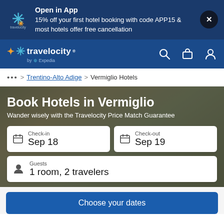Open in App
15% off your first hotel booking with code APP15 & most hotels offer free cancellation
[Figure (logo): Travelocity logo in navigation bar]
travelocity by Expedia — navigation bar with search, trips, and account icons
... > Trentino-Alto Adige > Vermiglio Hotels
Book Hotels in Vermiglio
Wander wisely with the Travelocity Price Match Guarantee
Check-in Sep 18
Check-out Sep 19
Guests 1 room, 2 travelers
Choose your dates